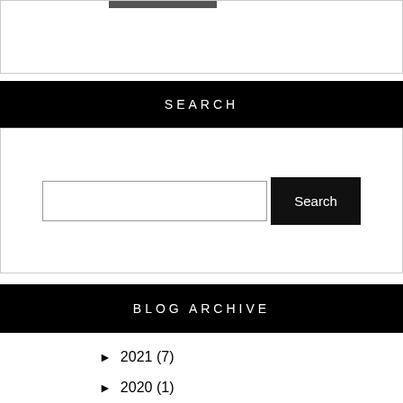SEARCH
[Figure (screenshot): Search input box and Search button]
BLOG ARCHIVE
► 2021 (7)
► 2020 (1)
► 2019 (4)
► 2018 (10)
► 2017 (3)
► 2016 (29)
► 2015 (41)
► 2014 (32)